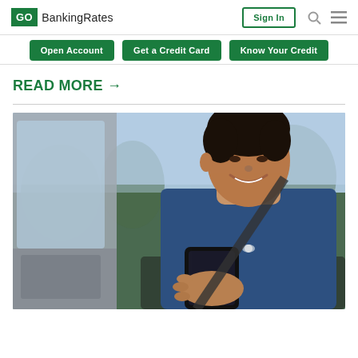GO BankingRates — Sign In
Open Account
Get a Credit Card
Know Your Credit
READ MORE →
[Figure (photo): A smiling man in a navy blue shirt sitting in a car, looking at his smartphone. He is wearing a seatbelt. The car door is open and there is outdoor scenery visible through the window.]